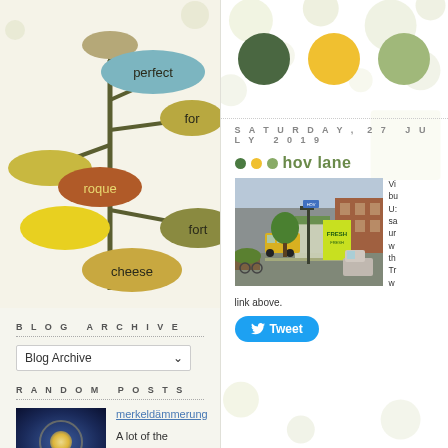[Figure (illustration): Decorative blob/lollipop word art illustration with the words 'perfect', 'for', 'roque', 'fort', 'cheese' in colored oval shapes on stick-like branches]
BLOG ARCHIVE
Blog Archive (dropdown)
RANDOM POSTS
[Figure (photo): Aerial night photo of a circular building or monument glowing from center]
merkeldämmerung
A lot of the reasoned
[Figure (illustration): Three large colored circles: dark green, yellow, and light green on a polka-dot background]
SATURDAY, 27 JULY 2019
hov lane
[Figure (photo): Street photo of an urban bus stop area with a large yellow-green advertisement billboard showing FRESH, a bus in the background, trees, and city buildings]
Vi bu U sa ur w th Tr w
link above.
Tweet